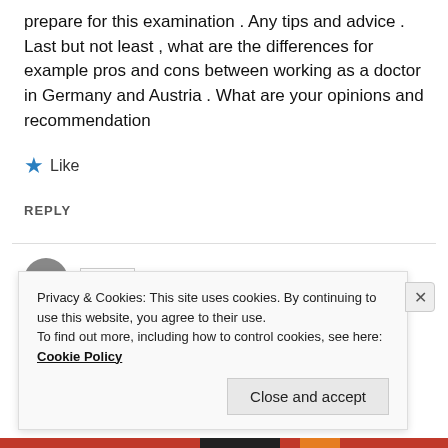prepare for this examination . Any tips and advice . Last but not least , what are the differences for example pros and cons between working as a doctor in Germany and Austria . What are your opinions and recommendation
★ Like
REPLY
[Figure (other): User avatar circle and name badge partially visible at bottom of comment section]
Privacy & Cookies: This site uses cookies. By continuing to use this website, you agree to their use.
To find out more, including how to control cookies, see here: Cookie Policy
Close and accept